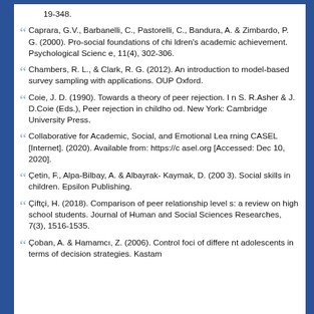19-348.
Caprara, G.V., Barbanelli, C., Pastorelli, C., Bandura, A. & Zimbardo, P. G. (2000). Pro-social foundations of children's academic achievement. Psychological Science, 11(4), 302-306.
Chambers, R. L., & Clark, R. G. (2012). An introduction to model-based survey sampling with applications. OUP Oxford.
Coie, J. D. (1990). Towards a theory of peer rejection. In S. R.Asher & J. D.Coie (Eds.), Peer rejection in childhood. New York: Cambridge University Press.
Collaborative for Academic, Social, and Emotional Learning CASEL [Internet]. (2020). Available from: https://casel.org [Accessed: Dec 10, 2020].
Çetin, F., Alpa-Bilbay, A. & Albayrak- Kaymak, D. (2003). Social skills in children. Epsilon Publishing.
Çiftçi, H. (2018). Comparison of peer relationship levels: a review on high school students. Journal of Human and Social Sciences Researches, 7(3), 1516-1535.
Çoban, A. & Hamamcı, Z. (2006). Control foci of different adolescents in terms of decision strategies. Kastam